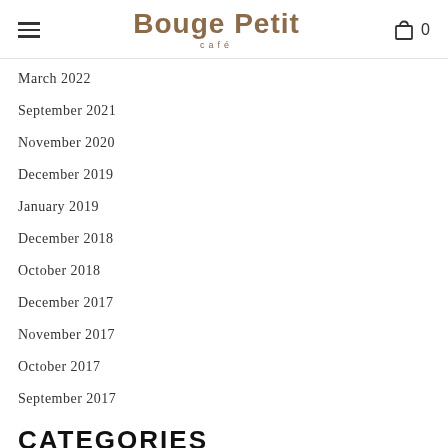Bouge Petit Café
March 2022
September 2021
November 2020
December 2019
January 2019
December 2018
October 2018
December 2017
November 2017
October 2017
September 2017
CATEGORIES